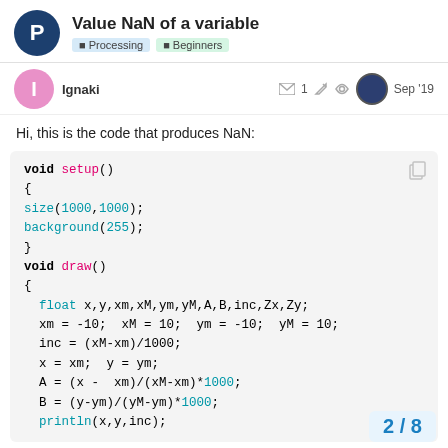Value NaN of a variable | Processing | Beginners
Ignaki   1   Sep '19
Hi, this is the code that produces NaN:
void setup()
{
size(1000,1000);
background(255);
}
void draw()
{
  float x,y,xm,xM,ym,yM,A,B,inc,Zx,Zy;
  xm = -10;  xM = 10;  ym = -10;  yM = 10;
  inc = (xM-xm)/1000;
  x = xm;  y = ym;
  A = (x -  xm)/(xM-xm)*1000;
  B = (y-ym)/(yM-ym)*1000;
  println(x,y,inc);
2 / 8